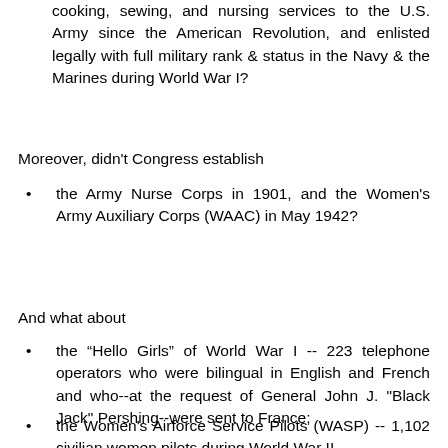cooking, sewing, and nursing services to the U.S. Army since the American Revolution, and enlisted legally with full military rank & status in the Navy & the Marines during World War I?
Moreover, didn't Congress establish
the Army Nurse Corps in 1901, and the Women's Army Auxiliary Corps (WAAC) in May 1942?
And what about
the “Hello Girls” of World War I -- 223 telephone operators who were bilingual in English and French and who--at the request of General John J. "Black Jack" Pershing--were sent to France;
the Women's Airforce Service Pilots (WASP) -- 1,102 civilian women pilots during World War II